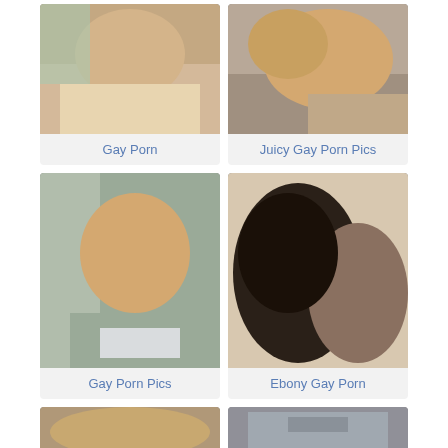[Figure (photo): Photo thumbnail for Gay Porn category]
Gay Porn
[Figure (photo): Photo thumbnail for Juicy Gay Porn Pics category]
Juicy Gay Porn Pics
[Figure (photo): Photo thumbnail for Gay Porn Pics category]
Gay Porn Pics
[Figure (photo): Photo thumbnail for Ebony Gay Porn category]
Ebony Gay Porn
[Figure (photo): Photo thumbnail row 3 left]
[Figure (photo): Photo thumbnail row 3 right]